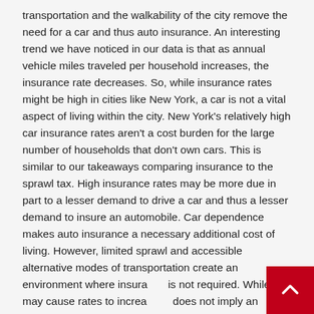transportation and the walkability of the city remove the need for a car and thus auto insurance. An interesting trend we have noticed in our data is that as annual vehicle miles traveled per household increases, the insurance rate decreases. So, while insurance rates might be high in cities like New York, a car is not a vital aspect of living within the city. New York’s relatively high car insurance rates aren’t a cost burden for the large number of households that don’t own cars. This is similar to our takeaways comparing insurance to the sprawl tax. High insurance rates may be more due in part to a lesser demand to drive a car and thus a lesser demand to insure an automobile. Car dependence makes auto insurance a necessary additional cost of living. However, limited sprawl and accessible alternative modes of transportation create an environment where insurance is not required. While this may cause rates to increase, it does not imply an increase in the overall cost of living.